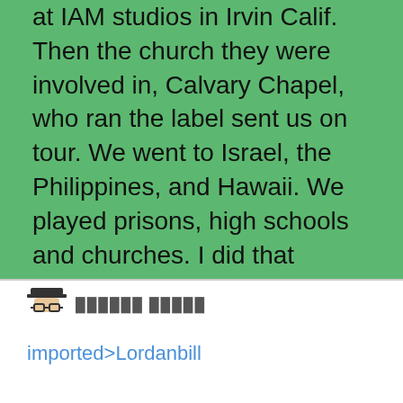at IAM studios in Irvin Calif. Then the church they were involved in, Calvary Chapel, who ran the label sent us on tour. We went to Israel, the Philippines, and Hawaii. We played prisons, high schools and churches. I did that almost 7 years. When the Christian band had run its course, I stayed around California for a while, then returned to Wisconsin for a time and got back with Dave Steffen again. We did one more recording and a little touring. I met a young blues guitar player named Chris Aaron in Wisconsin. He was an up and coming blues player and got involved with his music. His wife Lisa was
██████ █████
imported>Lordanbill